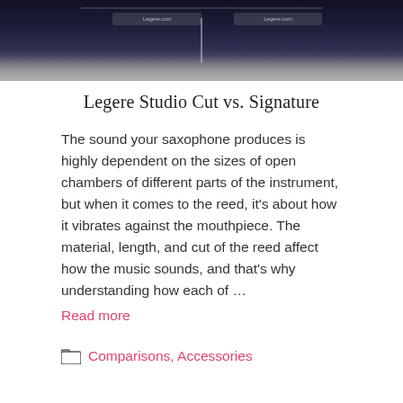[Figure (screenshot): Screenshot of a dark-themed comparison interface for Legere Studio Cut vs. Signature reeds, showing a dark blue/grey background with UI elements]
Legere Studio Cut vs. Signature
The sound your saxophone produces is highly dependent on the sizes of open chambers of different parts of the instrument, but when it comes to the reed, it’s about how it vibrates against the mouthpiece. The material, length, and cut of the reed affect how the music sounds, and that’s why understanding how each of …
Read more
Comparisons, Accessories